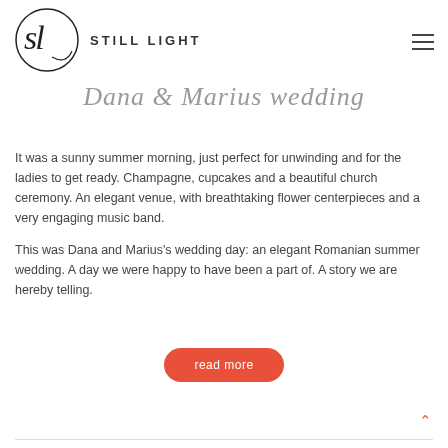[Figure (logo): Still Light photography logo: cursive 'sl' in a circle with 'STILL LIGHT' text in uppercase spaced letters]
Dana & Marius wedding
It was a sunny summer morning, just perfect for unwinding and for the ladies to get ready. Champagne, cupcakes and a beautiful church ceremony. An elegant venue, with breathtaking flower centerpieces and a very engaging music band.
This was Dana and Marius's wedding day: an elegant Romanian summer wedding. A day we were happy to have been a part of. A story we are hereby telling.
read more